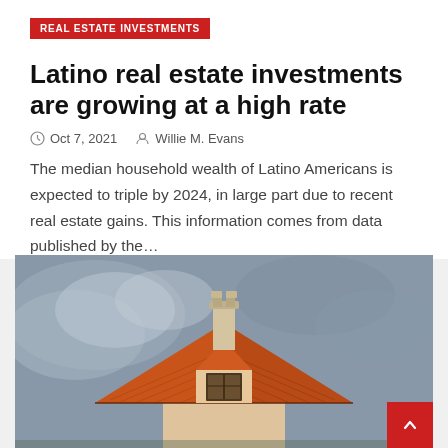REAL ESTATE INVESTMENTS
Latino real estate investments are growing at a high rate
Oct 7, 2021   Willie M. Evans
The median household wealth of Latino Americans is expected to triple by 2024, in large part due to recent real estate gains. This information comes from data published by the…
[Figure (photo): Close-up photograph of a model house or real house rooftop with an orange/terracotta roof, decorative chimney, and a small window, set against a blurred grey cloudy sky background.]